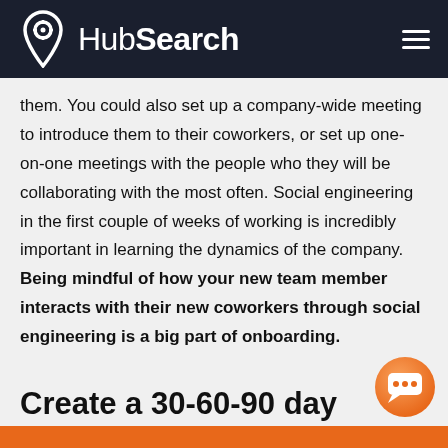HubSearch
them. You could also set up a company-wide meeting to introduce them to their coworkers, or set up one-on-one meetings with the people who they will be collaborating with the most often. Social engineering in the first couple of weeks of working is incredibly important in learning the dynamics of the company. Being mindful of how your new team member interacts with their new coworkers through social engineering is a big part of onboarding.
Create a 30-60-90 day nd